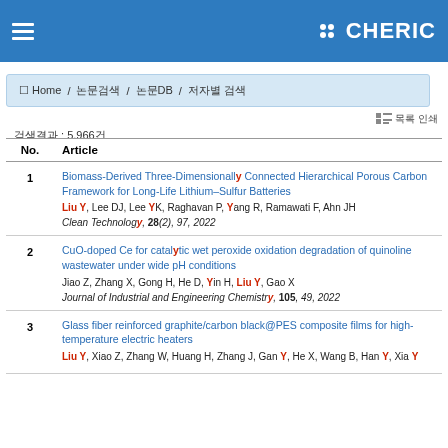CHERIC
Home / 논문검색 / 논문DB / 저자별 검색
검색결과 : 5,966건
| No. | Article |
| --- | --- |
| 1 | Biomass-Derived Three-Dimensionally Connected Hierarchical Porous Carbon Framework for Long-Life Lithium–Sulfur Batteries
Liu Y, Lee DJ, Lee YK, Raghavan P, Yang R, Ramawati F, Ahn JH
Clean Technology, 28(2), 97, 2022 |
| 2 | CuO-doped Ce for catalytic wet peroxide oxidation degradation of quinoline wastewater under wide pH conditions
Jiao Z, Zhang X, Gong H, He D, Yin H, Liu Y, Gao X
Journal of Industrial and Engineering Chemistry, 105, 49, 2022 |
| 3 | Glass fiber reinforced graphite/carbon black@PES composite films for high-temperature electric heaters
Liu Y, Xiao Z, Zhang W, Huang H, Zhang J, Gan Y, He X, Wang B, Han Y, Xia Y |